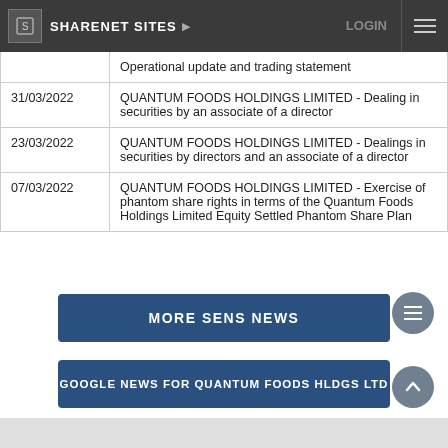SHARENET SITES ▶  LOGIN
| Date | Announcement |
| --- | --- |
|  | Operational update and trading statement |
| 31/03/2022 | QUANTUM FOODS HOLDINGS LIMITED - Dealing in securities by an associate of a director |
| 23/03/2022 | QUANTUM FOODS HOLDINGS LIMITED - Dealings in securities by directors and an associate of a director |
| 07/03/2022 | QUANTUM FOODS HOLDINGS LIMITED - Exercise of phantom share rights in terms of the Quantum Foods Holdings Limited Equity Settled Phantom Share Plan |
MORE SENS NEWS
GOOGLE NEWS FOR QUANTUM FOODS HLDGS LTD